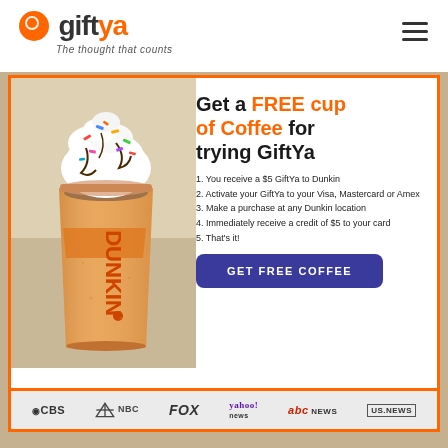[Figure (logo): GiftYa logo with orange circle icon, bold 'gift' in dark gray and 'ya' in orange, tagline 'The thought that counts' below]
[Figure (illustration): Dunkin iced coffee drink with whipped cream and sprinkles on top, in orange Dunkin branded cup]
Get a FREE cup of Coffee for trying GiftYa
1. You receive a $5 GiftYa to Dunkin
2. Activate your GiftYa to your Visa, Mastercard or Amex
3. Make a purchase at any Dunkin location
4. Immediately receive a credit of $5 to your card
5. That's it!
GET FREE COFFEE
[Figure (logo): Media logos: CBS, NBC, FOX, yahoo! news, abc NEWS, US.NEWS]